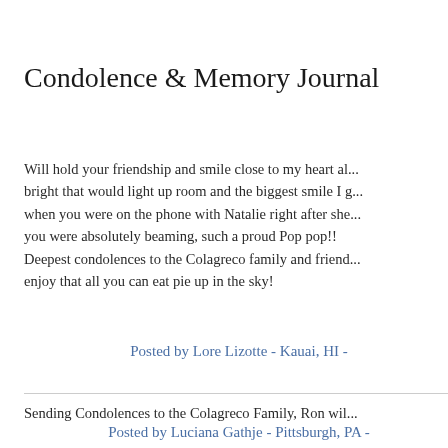Condolence & Memory Journal
Will hold your friendship and smile close to my heart al... bright that would light up room and the biggest smile I g... when you were on the phone with Natalie right after she... you were absolutely beaming, such a proud Pop pop!! Deepest condolences to the Colagreco family and friend... enjoy that all you can eat pie up in the sky!
Posted by Lore Lizotte - Kauai, HI -
Sending Condolences to the Colagreco Family, Ron wil...
Posted by Luciana Gathje - Pittsburgh, PA -